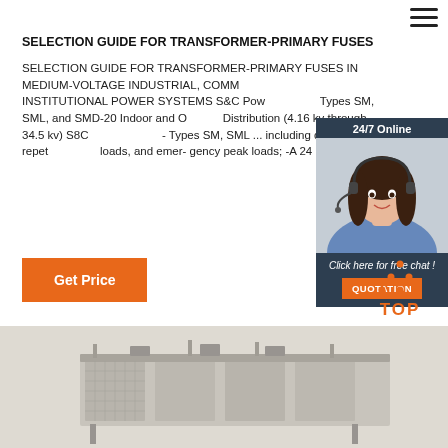SELECTION GUIDE FOR TRANSFORMER-PRIMARY FUSES
SELECTION GUIDE FOR TRANSFORMER-PRIMARY FUSES IN MEDIUM-VOLTAGE INDUSTRIAL, COMMERCIAL, AND INSTITUTIONAL POWER SYSTEMS S&C Power Fuses - Types SM, SML, and SMD-20 Indoor and Outdoor Distribution (4.16 kv through 34.5 kv) S8C Power Fuses - Types SM, SML ... including daily or repetitive peak loads, and emer- gency peak loads; -A 24C
[Figure (photo): Customer service agent woman with headset, online chat widget with '24/7 Online' banner and 'Click here for free chat!' text and QUOTATION button]
[Figure (other): Orange TOP navigation icon with dots arranged in triangle above text 'TOP']
[Figure (photo): Industrial electrical transformer or switchgear equipment shown at bottom of page]